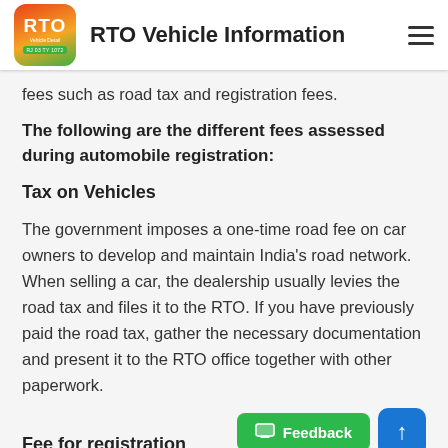RTO Vehicle Information
fees such as road tax and registration fees.
The following are the different fees assessed during automobile registration:
Tax on Vehicles
The government imposes a one-time road fee on car owners to develop and maintain India's road network. When selling a car, the dealership usually levies the road tax and files it to the RTO. If you have previously paid the road tax, gather the necessary documentation and present it to the RTO office together with other paperwork.
Fee for registration